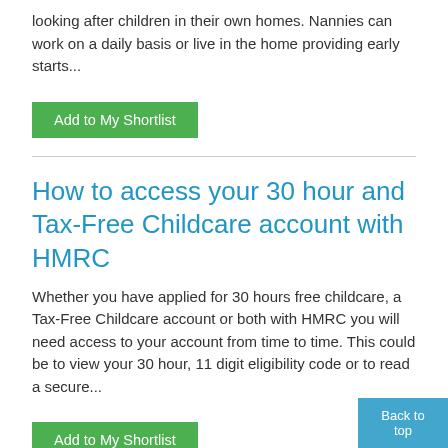looking after children in their own homes.  Nannies can work on a daily basis or live in the home providing early starts...
Add to My Shortlist
How to access your 30 hour and Tax-Free Childcare account with HMRC
Whether you have applied for 30 hours free childcare, a Tax-Free Childcare account or both with HMRC you will need access to your account from time to time. This could be to view your 30 hour, 11 digit eligibility code or to read a secure...
Add to My Shortlist
Admission to Primary School
Children can start in Reception class the September after their 4th birthday.  You can register your child at any Wigan Primary School, no later than the beginning of November before the child is due to
Back to top